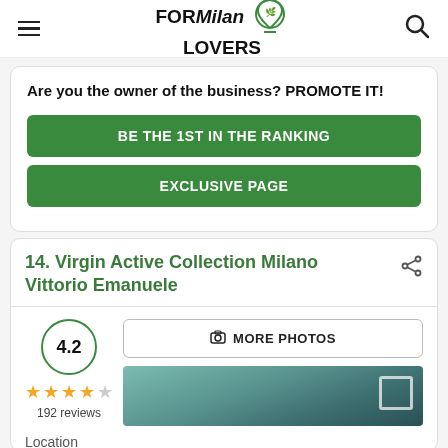FOR Milan LOVERS
Are you the owner of the business? PROMOTE IT!
BE THE 1ST IN THE RANKING
EXCLUSIVE PAGE
14. Virgin Active Collection Milano Vittorio Emanuele
4.2 — 192 reviews
MORE PHOTOS
[Figure (photo): Thumbnail photo of gym interior]
Location